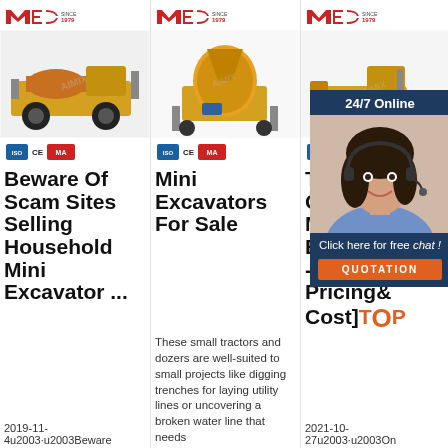[Figure (logo): MEC SINCE 1979 logo - red brand logo top left of column 1]
[Figure (photo): Yellow/orange mining truck product photo, column 1]
CE MA certification badges, column 1
Beware Of Scam Sites Selling Household Mini Excavator ...
2019-11-4u2003·u2003Beware
[Figure (logo): MEC SINCE 1979 logo top of column 2]
[Figure (photo): Orange concrete mixer / excavator product photo, column 2]
CE MA certification badges, column 2
Mini Excavators For Sale
These small tractors and dozers are well-suited to small projects like digging trenches for laying utility lines or uncovering a broken water line that needs
[Figure (logo): MEC SINCE 1979 logo top of column 3]
[Figure (photo): Yellow bulldozer/excavator product photo, column 3]
[Figure (screenshot): 24/7 Online chat widget with customer service representative photo, Click here for free chat!, QUOTATION button]
Th Ch M Ex - [2021 Pricing & Cost]TOP
2021-10-27u2003·u2003On